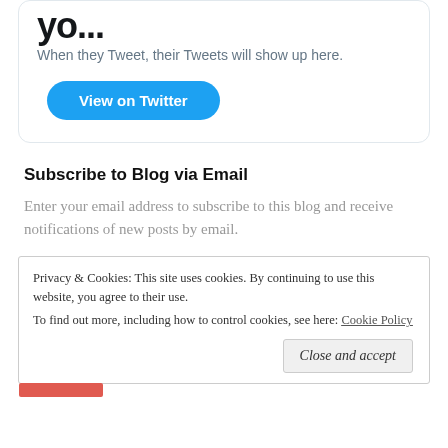When they Tweet, their Tweets will show up here.
[Figure (other): Blue 'View on Twitter' button with rounded pill shape]
Subscribe to Blog via Email
Enter your email address to subscribe to this blog and receive notifications of new posts by email.
Privacy & Cookies: This site uses cookies. By continuing to use this website, you agree to their use. To find out more, including how to control cookies, see here: Cookie Policy
Close and accept